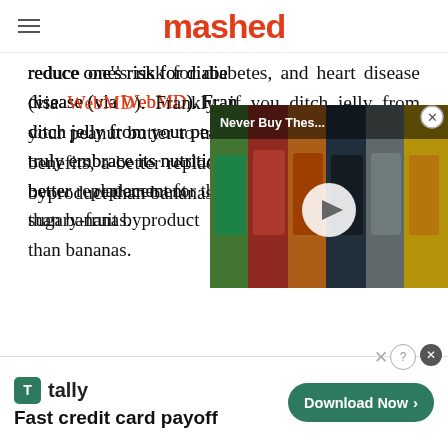mashed
reduce one's risk for diabetes, and heart disease (via WebMD). Frankly, if you ditch jelly from your peanut butter to truly embrace its nutritional benefits, a better replacement for the sugary-fruit byproduct than bananas.
[Figure (screenshot): Video thumbnail overlay showing canned goods with title 'Never Buy Thes...' and a play button]
[Figure (screenshot): Advertisement banner for Tally app: 'Fast credit card payoff' with green Download Now button]